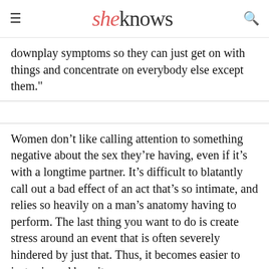sheknows
downplay symptoms so they can just get on with things and concentrate on everybody else except them."
Women don’t like calling attention to something negative about the sex they’re having, even if it’s with a longtime partner. It’s difficult to blatantly call out a bad effect of an act that’s so intimate, and relies so heavily on a man’s anatomy having to perform. The last thing you want to do is create stress around an event that is often severely hindered by just that. Thus, it becomes easier to just grin and bear it.